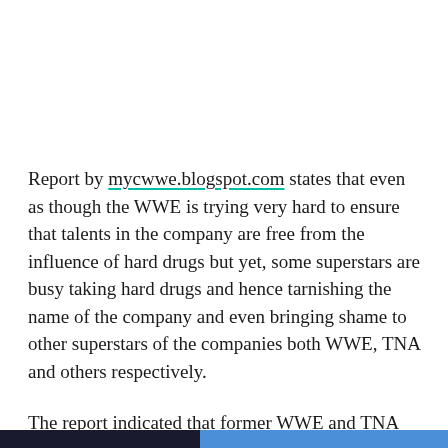Report by mycwwe.blogspot.com states that even as though the WWE is trying very hard to ensure that talents in the company are free from the influence of hard drugs but yet, some superstars are busy taking hard drugs and hence tarnishing the name of the company and even bringing shame to other superstars of the companies both WWE, TNA and others respectively.
The report indicated that former WWE and TNA superstar Matt Hardy took his heels in his 2009 Chevrolet Corvette car under the influence of hard drugs. He was on